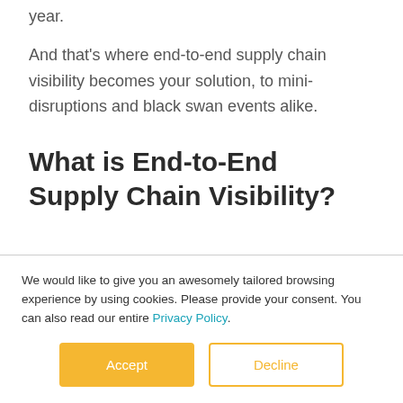year.
And that's where end-to-end supply chain visibility becomes your solution, to mini-disruptions and black swan events alike.
What is End-to-End Supply Chain Visibility?
We would like to give you an awesomely tailored browsing experience by using cookies. Please provide your consent. You can also read our entire Privacy Policy.
Accept   Decline